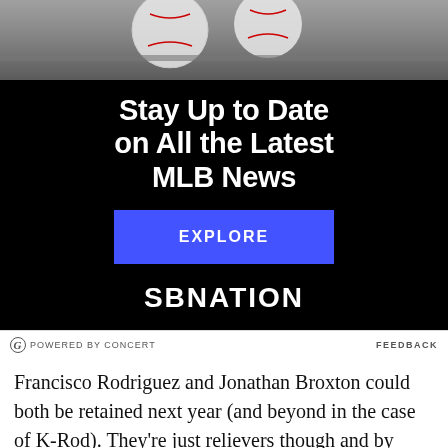[Figure (photo): Advertisement banner with baseball photo at top. Black background with white bold text 'Stay Up to Date on All the Latest MLB News', a blue EXPLORE button, and SBNATION logo at bottom.]
POWERED BY CONCERT   FEEDBACK
Francisco Rodriguez and Jonathan Broxton could both be retained next year (and beyond in the case of K-Rod). They're just relievers though and by their nature